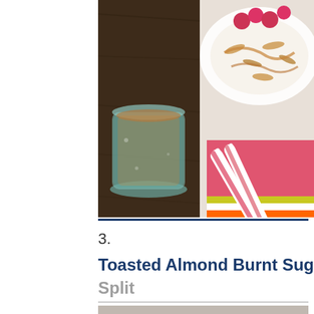[Figure (photo): Overhead food photography showing a white plate with yogurt, toasted almonds, raspberries and caramel sauce, alongside a pink striped paper straw, a colorful striped napkin in pink, yellow, white and orange, and a glass jar on a dark wooden surface.]
3.
Toasted Almond Burnt Sugar Banana Split
[Figure (photo): Partially visible food photograph at the bottom of the page.]